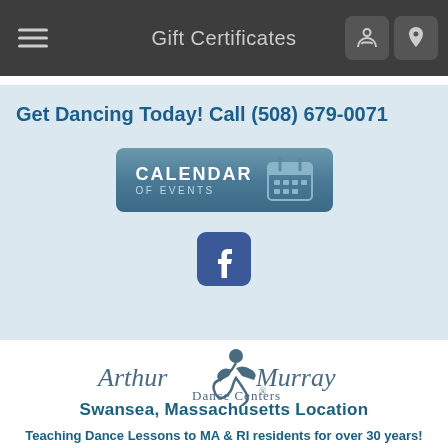Gift Certificates
Get Dancing Today! Call (508) 679-0071
[Figure (infographic): Calendar of Events button with calendar icon]
[Figure (logo): Facebook logo icon (blue square with white f)]
[Figure (logo): Arthur Murray Dance Centers logo with dancing silhouette]
Swansea, Massachusetts Location
Teaching Dance Lessons to MA & RI residents for over 30 years!